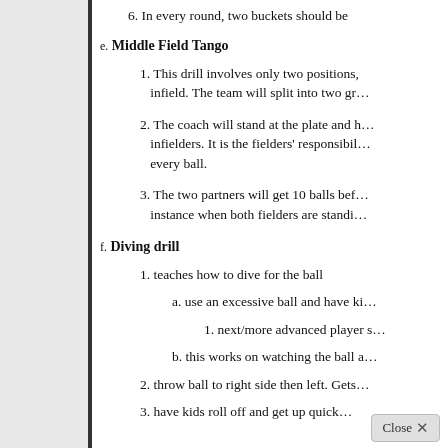6. In every round, two buckets should be…
e. Middle Field Tango
1. This drill involves only two positions, infield. The team will split into two gr…
2. The coach will stand at the plate and h… infielders. It is the fielders' responsibili… every ball.
3. The two partners will get 10 balls bef… instance when both fielders are standi…
f. Diving drill
1. teaches how to dive for the ball
a. use an excessive ball and have ki…
1. next/more advanced player s…
b. this works on watching the ball a…
2. throw ball to right side then left. Gets…
3. have kids roll off and get up quick…